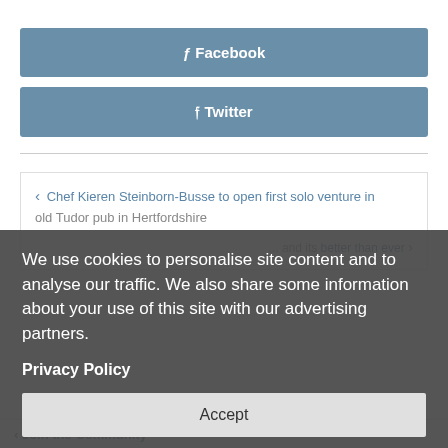[Figure (other): Facebook share button — blue-grey rounded rectangle with 'f Facebook' label in white bold text]
[Figure (other): Twitter share button — blue-grey rounded rectangle with bird icon and 'Twitter' label in white bold text]
Chef Kieren Steinborn-Busse to open first solo venture in old Tudor pub in Hertfordshire
We use cookies to personalise site content and to analyse our traffic. We also share some information about your use of this site with our advertising partners.
Privacy Policy
Accept
Join the Community